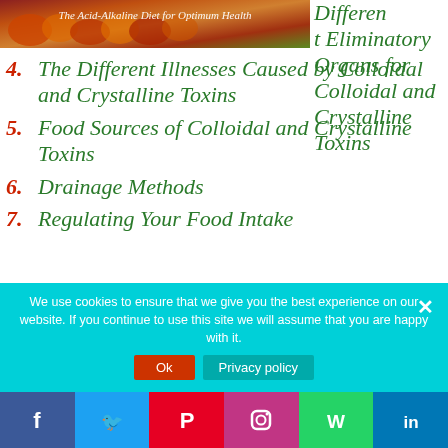[Figure (photo): Book cover image: The Acid-Alkaline Diet for Optimum Health with vegetables/fruits]
Different Eliminatory Organs for Colloidal and Crystalline Toxins
4. The Different Illnesses Caused by Colloidal and Crystalline Toxins
5. Food Sources of Colloidal and Crystalline Toxins
6. Drainage Methods
7. Regulating Your Food Intake
We use cookies to ensure that we give you the best experience on our website. If you continue to use this site we will assume that you are happy with it.
Facebook Twitter Pinterest Instagram WhatsApp LinkedIn